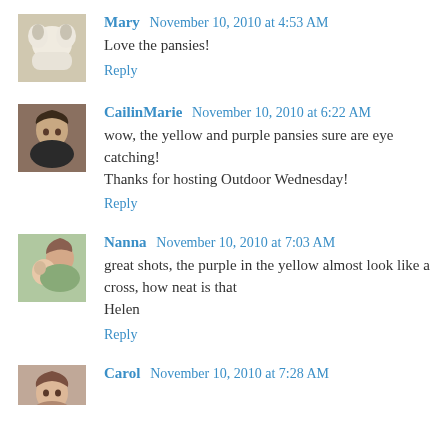[Figure (photo): Avatar thumbnail of Mary - white fluffy dogs]
Mary November 10, 2010 at 4:53 AM
Love the pansies!
Reply
[Figure (photo): Avatar thumbnail of CailinMarie - woman with dark hair]
CailinMarie November 10, 2010 at 6:22 AM
wow, the yellow and purple pansies sure are eye catching! Thanks for hosting Outdoor Wednesday!
Reply
[Figure (photo): Avatar thumbnail of Nanna - woman with child]
Nanna November 10, 2010 at 7:03 AM
great shots, the purple in the yellow almost look like a cross, how neat is that
Helen
Reply
[Figure (photo): Avatar thumbnail of Carol]
Carol November 10, 2010 at 7:28 AM